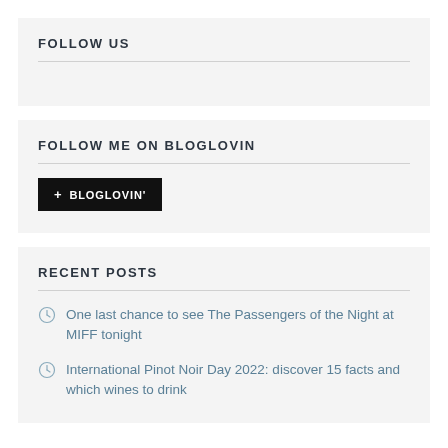FOLLOW US
FOLLOW ME ON BLOGLOVIN
+ BLOGLOVIN'
RECENT POSTS
One last chance to see The Passengers of the Night at MIFF tonight
International Pinot Noir Day 2022: discover 15 facts and which wines to drink